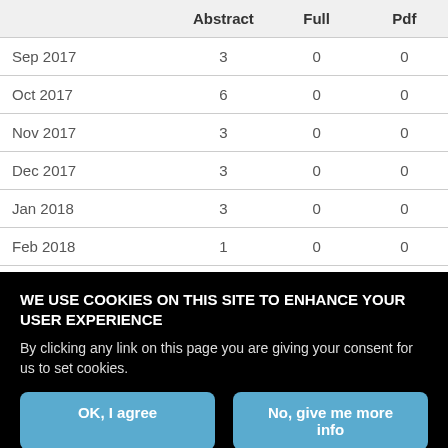|  | Abstract | Full | Pdf |
| --- | --- | --- | --- |
| Sep 2017 | 3 | 0 | 0 |
| Oct 2017 | 6 | 0 | 0 |
| Nov 2017 | 3 | 0 | 0 |
| Dec 2017 | 3 | 0 | 0 |
| Jan 2018 | 3 | 0 | 0 |
| Feb 2018 | 1 | 0 | 0 |
| Mar 2018 | 3 | 0 | 0 |
WE USE COOKIES ON THIS SITE TO ENHANCE YOUR USER EXPERIENCE
By clicking any link on this page you are giving your consent for us to set cookies.